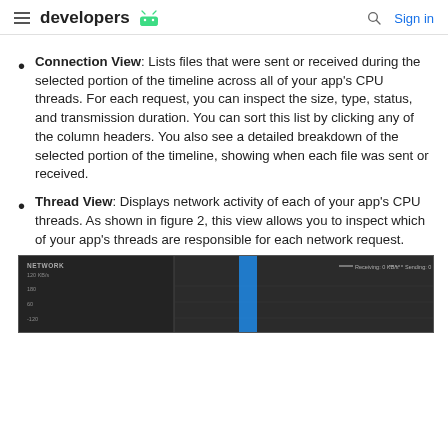developers  Sign in
Connection View: Lists files that were sent or received during the selected portion of the timeline across all of your app's CPU threads. For each request, you can inspect the size, type, status, and transmission duration. You can sort this list by clicking any of the column headers. You also see a detailed breakdown of the selected portion of the timeline, showing when each file was sent or received.
Thread View: Displays network activity of each of your app's CPU threads. As shown in figure 2, this view allows you to inspect which of your app's threads are responsible for each network request.
[Figure (screenshot): A dark-themed Android Studio Network Profiler screenshot showing a network timeline with a blue vertical selection bar, NETWORK label on the left, and a legend showing 'Receiving: 0 KB/s' and 'Sending: 0 KB/s' in the top right.]